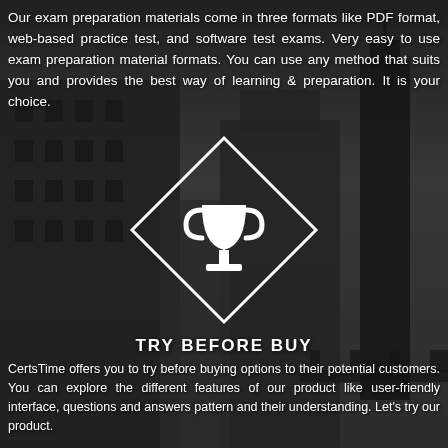Our exam preparation materials come in three formats like PDF format, web-based practice test, and software test exams. Very easy to use exam preparation material formats. You can use any method that suits you and provides the best way of learning & preparation. It is your choice.
[Figure (illustration): Diamond-shaped white outline with a trophy icon inside, centered on a dark cityscape background]
TRY BEFORE BUY
CertsTime offers you to try before buying options to their potential customers. You can explore the different features of our product like user-friendly interface, questions and answers pattern and their understanding. Let's try our product.